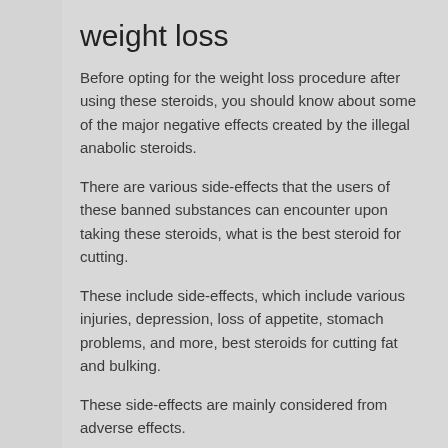weight loss
Before opting for the weight loss procedure after using these steroids, you should know about some of the major negative effects created by the illegal anabolic steroids.
There are various side-effects that the users of these banned substances can encounter upon taking these steroids, what is the best steroid for cutting.
These include side-effects, which include various injuries, depression, loss of appetite, stomach problems, and more, best steroids for cutting fat and bulking.
These side-effects are mainly considered from adverse effects.
Most the athletes are warned about side-